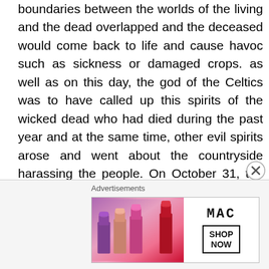boundaries between the worlds of the living and the dead overlapped and the deceased would come back to life and cause havoc such as sickness or damaged crops. as well as on this day, the god of the Celtics was to have called up this spirits of the wicked dead who had died during the past year and at the same time, other evil spirits arose and went about the countryside harassing the people. On October 31, the Celtics expected to be harassed by ghosts, evil spirits and demons; and it was no fun and games to them for they understood the consequences. There festival would frequently involve bonfires. It is believed that the fires attracted insects to the area which attracted bats to the area as well as these bonfires
[Figure (photo): MAC lipstick advertisement showing multiple lipstick tubes in purple, pink, and red shades alongside the MAC logo and a 'SHOP NOW' button.]